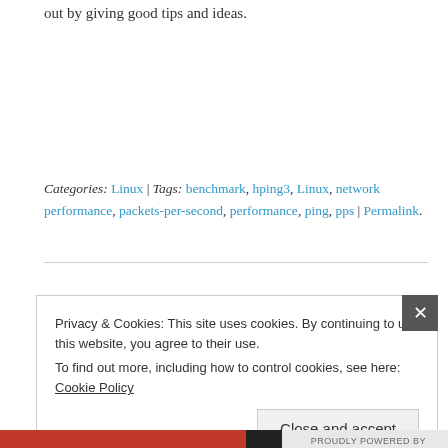out by giving good tips and ideas.
Categories: Linux | Tags: benchmark, hping3, Linux, network performance, packets-per-second, performance, ping, pps | Permalink.
Privacy & Cookies: This site uses cookies. By continuing to use this website, you agree to their use.
To find out more, including how to control cookies, see here: Cookie Policy
Close and accept